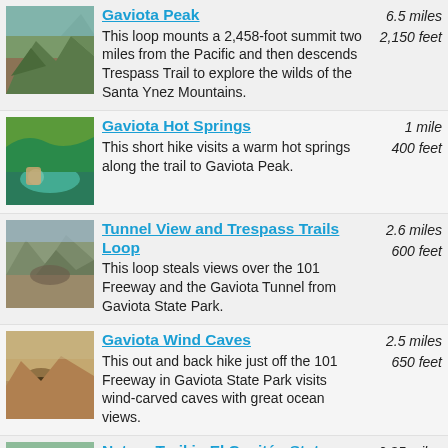Gaviota Peak
6.5 miles
2,150 feet
This loop mounts a 2,458-foot summit two miles from the Pacific and then descends Trespass Trail to explore the wilds of the Santa Ynez Mountains.
Gaviota Hot Springs
1 mile
400 feet
This short hike visits a warm hot springs along the trail to Gaviota Peak.
Tunnel View and Trespass Trails Loop
2.6 miles
600 feet
This loop steals views over the 101 Freeway and the Gaviota Tunnel from Gaviota State Park.
Gaviota Wind Caves
2.5 miles
650 feet
This out and back hike just off the 101 Freeway in Gaviota State Park visits wind-carved caves with great ocean views.
Nature Trail in El Capitán State
0.35 miles